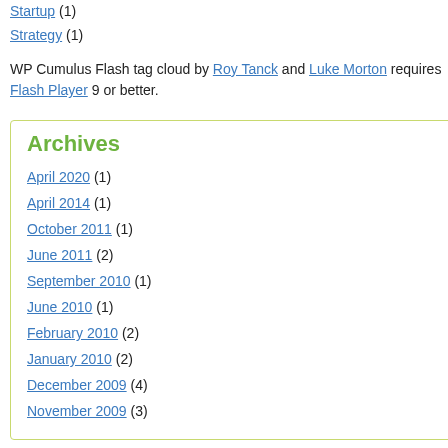Startup (1)
Strategy (1)
WP Cumulus Flash tag cloud by Roy Tanck and Luke Morton requires Flash Player 9 or better.
Archives
April 2020 (1)
April 2014 (1)
October 2011 (1)
June 2011 (2)
September 2010 (1)
June 2010 (1)
February 2010 (2)
January 2010 (2)
December 2009 (4)
November 2009 (3)
during their time at church on Sundays.  On our minds than other Sundays.  Before the 600 cups of wine and communion crackers, different stations before the people arrive.  A the worship center and man 4 sets of doors welcome people arriving in 2 wings of the b serve in just this aspect of the service.  The service starts half an hour after the first end worship center, clean up spills, refill more tr more stations and more than 20 of the 30 p service.
On one of these Sundays I was checking on after confirming the preparation of the comm scanning the lobby for arriving volunteers, a their brother to me, who had come to visit o
In life and work it's all about the people and we do that we do.  On this Sunday, I blew it.
I gave this friend and their guest only half m regretted the minute it spilled out of my mou as I glossed over the important thing that re this guest feel warmly welcomed and impor saw the same crazy world he sees all week
This happens every day in the work place —